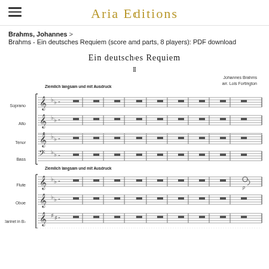Aria Editions
Brahms, Johannes > Brahms - Ein deutsches Requiem (score and parts, 8 players): PDF download
Ein deutsches Requiem
I
Johannes Brahms
arr. Lois Fortington
[Figure (other): Musical score showing the first movement of Ein deutsches Requiem. Tempo marking: Ziemlich langsam und mit Ausdruck. Parts shown: Soprano (whole rests), Alto (whole rests), Tenor (whole rests), Bass (whole rests), Flute (whole rests then note with p dynamic), Oboe (whole rests), Clarinet in Bb (whole rests). Both vocal and instrumental sections marked Ziemlich langsam und mit Ausdruck. Key signature: two flats. Time signature: C (common time).]